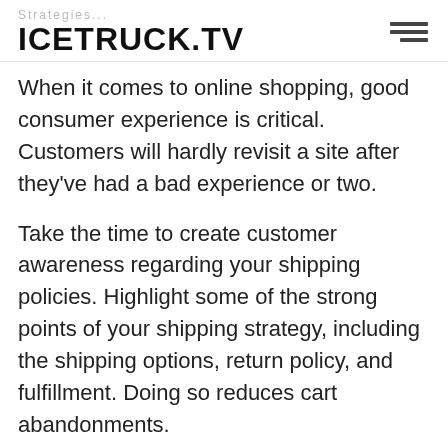ICETRUCK.TV
When it comes to online shopping, good consumer experience is critical. Customers will hardly revisit a site after they've had a bad experience or two.
Take the time to create customer awareness regarding your shipping policies. Highlight some of the strong points of your shipping strategy, including the shipping options, return policy, and fulfillment. Doing so reduces cart abandonments.
Try to provide flexible shipping plans that are based on the amount the customer spends, how frequently they shop, the season they buy, the area they live in, and so on. Customize your shipping solutions to suit your customers' needs. Always visit relevant sites to find out